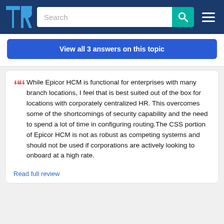TrustRadius - Search navigation bar
View all 3 answers on this topic
While Epicor HCM is functional for enterprises with many branch locations, I feel that is best suited out of the box for locations with corporately centralized HR. This overcomes some of the shortcomings of security capability and the need to spend a lot of time in configuring routing.The CSS portion of Epicor HCM is not as robust as competing systems and should not be used if corporations are actively looking to onboard at a high rate.
Read full review